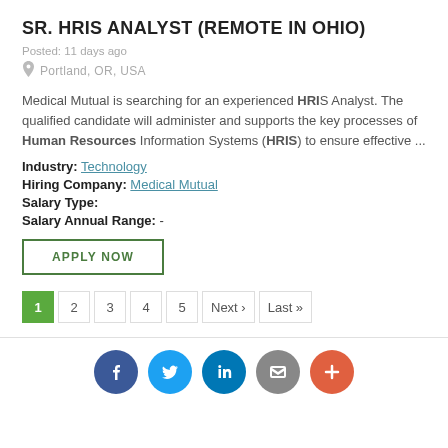SR. HRIS ANALYST (REMOTE IN OHIO)
Posted: 11 days ago
Portland, OR, USA
Medical Mutual is searching for an experienced HRIS Analyst. The qualified candidate will administer and supports the key processes of Human Resources Information Systems (HRIS) to ensure effective ...
Industry: Technology
Hiring Company: Medical Mutual
Salary Type:
Salary Annual Range: -
APPLY NOW
1 2 3 4 5 Next > Last >>